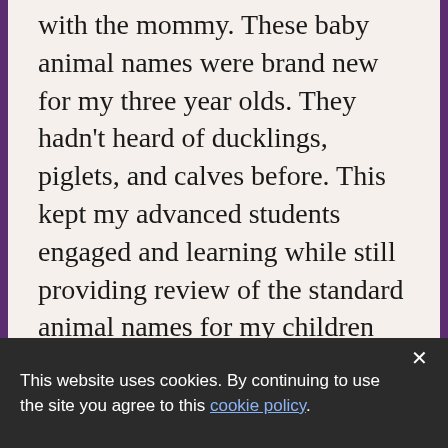instead, under each flap is a baby to go with the mommy. These baby animal names were brand new for my three year olds. They hadn't heard of ducklings, piglets, and calves before. This kept my advanced students engaged and learning while still providing review of the standard animal names for my children who were newer to learning English.
Reading tips:
By using identical phrasing on each
This website uses cookies. By continuing to use the site you agree to this cookie policy.